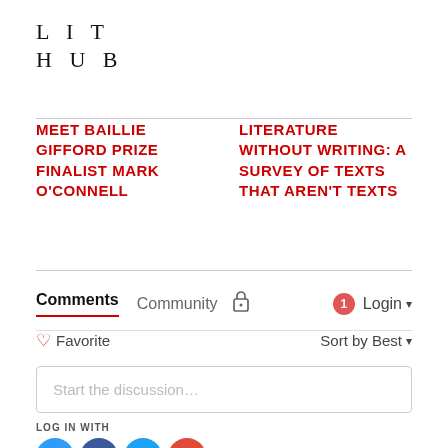LIT HUB
MEET BAILLIE GIFFORD PRIZE FINALIST MARK O'CONNELL
LITERATURE WITHOUT WRITING: A SURVEY OF TEXTS THAT AREN'T TEXTS
Comments   Community   🔒   1   Login ▾
♡ Favorite   Sort by Best ▾
Start the discussion…
LOG IN WITH